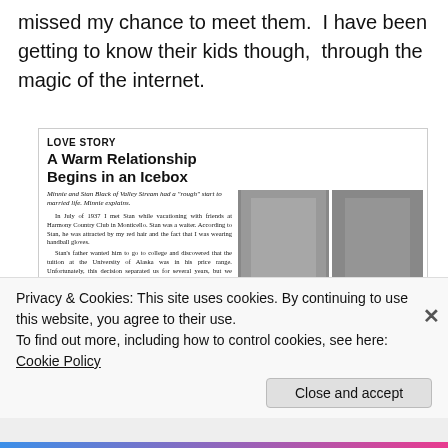missed my chance to meet them.  I have been getting to know their kids though,  through the magic of the internet.
[Figure (screenshot): Scanned newspaper clipping with headline 'LOVE STORY / A Warm Relationship Begins in an Icebox' and two black-and-white photos of Minnie and Stan Black, with article text about their love story.]
Minnie and Stan Black, in Valley Stream and in Alaska
Privacy & Cookies: This site uses cookies. By continuing to use this website, you agree to their use.
To find out more, including how to control cookies, see here: Cookie Policy
Close and accept